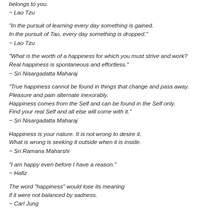belongs to you.
~ Lao Tzu
“In the pursuit of learning every day something is gained.
In the pursuit of Tao, every day something is dropped."
~ Lao Tzu
“What is the worth of a happiness for which you must strive and work?
Real happiness is spontaneous and effortless."
~ Sri Nisargadatta Maharaj
“True happiness cannot be found in things that change and pass away.
Pleasure and pain alternate inexorably.
Happiness comes from the Self and can be found in the Self only.
Find your real Self and all else will come with it."
~ Sri Nisargadatta Maharaj
Happiness is your nature. It is not wrong to desire it.
What is wrong is seeking it outside when it is inside.
~ Sri Ramana Maharshi
“I am happy even before I have a reason."
~ Hafiz
The word “happiness” would lose its meaning
if it were not balanced by sadness.
~ Carl Jung